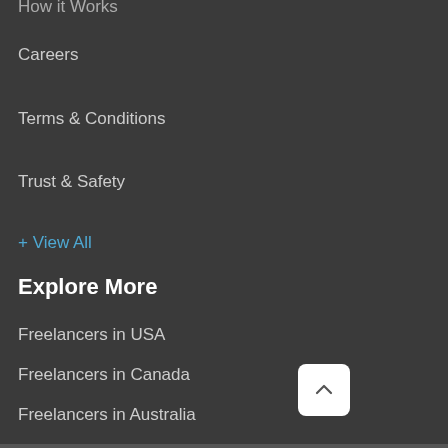How it Works
Careers
Terms & Conditions
Trust & Safety
+ View All
Explore More
Freelancers in USA
Freelancers in Canada
Freelancers in Australia
Jobs in USA
Find Jobs
+ View All
[Figure (other): Scroll to top button with upward chevron arrow on white rounded square background]